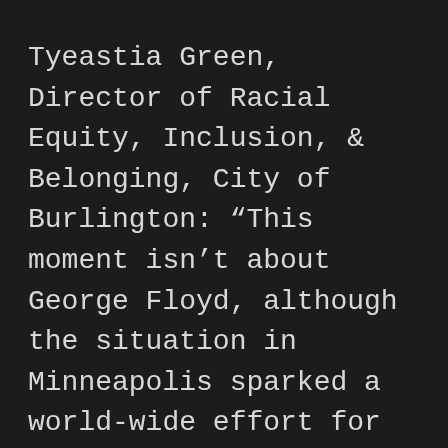Tyeastia Green, Director of Racial Equity, Inclusion, & Belonging, City of Burlington: "This moment isn't about George Floyd, although the situation in Minneapolis sparked a world-wide effort for everyone to see systemic racism for what it is. Racial disparities in health and social determinants of health have been around for centuries. COVID-19 shined a bright light on that. I'm proud